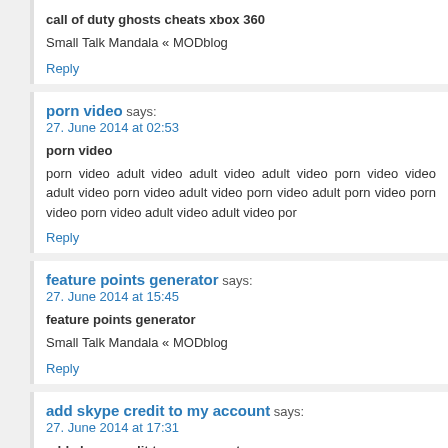call of duty ghosts cheats xbox 360
Small Talk Mandala « MODblog
Reply
porn video says:
27. June 2014 at 02:53
porn video
porn video adult video adult video adult video porn video video adult video porn video adult video porn video adult porn video porn video porn video adult video adult video por
Reply
feature points generator says:
27. June 2014 at 15:45
feature points generator
Small Talk Mandala « MODblog
Reply
add skype credit to my account says:
27. June 2014 at 17:31
add skype credit to my account